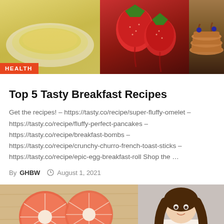[Figure (photo): Collage of breakfast foods: omelet on the left, strawberries in the middle, and pancakes with blueberries on the right. 'HEALTH' badge overlay on bottom left.]
Top 5 Tasty Breakfast Recipes
Get the recipes! – https://tasty.co/recipe/super-fluffy-omelet – https://tasty.co/recipe/fluffy-perfect-pancakes – https://tasty.co/recipe/breakfast-bombs – https://tasty.co/recipe/crunchy-churro-french-toast-sticks – https://tasty.co/recipe/epic-egg-breakfast-roll Shop the ...
By GHBW  August 1, 2021
[Figure (photo): Collage: sliced grapefruit and citrus on the left, a woman with long brown hair on the right.]